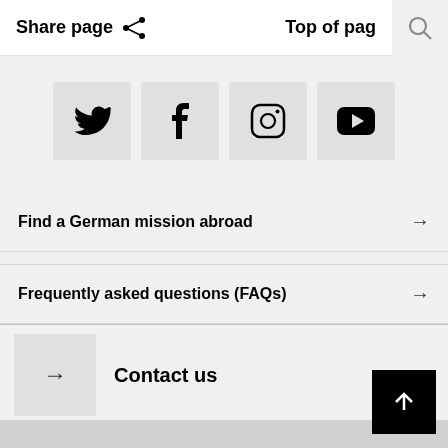Share page
Top of page
[Figure (other): Social media icons row: Twitter, Facebook, Instagram, YouTube]
Find a German mission abroad →
Frequently asked questions (FAQs) →
Contact us →